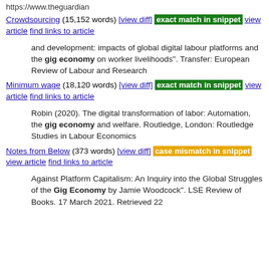https://www.theguardian
Crowdsourcing (15,152 words) [view diff] exact match in snippet view article find links to article
and development: impacts of global digital labour platforms and the gig economy on worker livelihoods". Transfer: European Review of Labour and Research
Minimum wage (18,120 words) [view diff] exact match in snippet view article find links to article
Robin (2020). The digital transformation of labor: Automation, the gig economy and welfare. Routledge, London: Routledge Studies in Labour Economics
Notes from Below (373 words) [view diff] case mismatch in snippet view article find links to article
Against Platform Capitalism: An Inquiry into the Global Struggles of the Gig Economy by Jamie Woodcock". LSE Review of Books. 17 March 2021. Retrieved 22